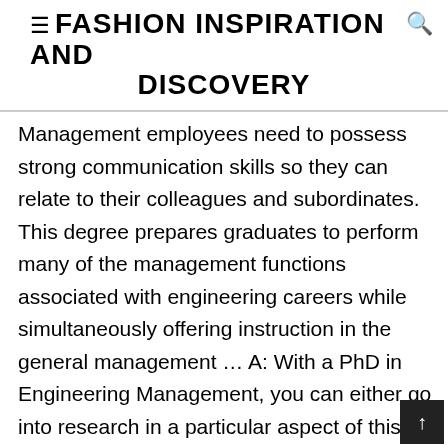FASHION INSPIRATION AND DISCOVERY
Management employees need to possess strong communication skills so they can relate to their colleagues and subordinates. This degree prepares graduates to perform many of the management functions associated with engineering careers while simultaneously offering instruction in the general management … A: With a PhD in Engineering Management, you can either go into research in a particular aspect of this field, or develop a career. This will increase competition, and open up the market for new jobs in aerospace engineering.